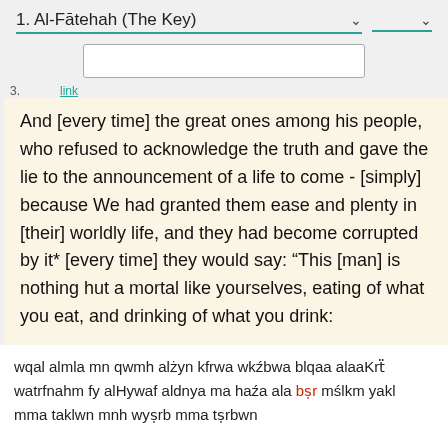1. Al-Fātehah (The Key)
And [every time] the great ones among his people, who refused to acknowledge the truth and gave the lie to the announcement of a life to come - [simply] because We had granted them ease and plenty in [their] worldly life, and they had become corrupted by it* [every time] they would say: “This [man] is nothing hut a mortal like yourselves, eating of what you eat, and drinking of what you drink:
wqal almla mn qwmh alżyn kfrwa wkźbwa blqaa alaaKrẗ watrfnahm fy alHywaf aldnya ma haźa ala bṣr mślkm yakl mma taklwn mnh wyṣrb mma tṣrbwn
وقال الملا من قومه الذين كفروا وكذبوا